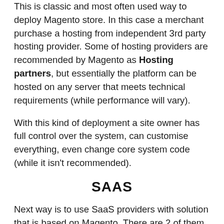This is classic and most often used way to deploy Magento store. In this case a merchant purchase a hosting from independent 3rd party hosting provider. Some of hosting providers are recommended by Magento as Hosting partners, but essentially the platform can be hosted on any server that meets technical requirements (while performance will vary).
With this kind of deployment a site owner has full control over the system, can customise everything, even change core system code (while it isn't recommended).
SAAS
Next way is to use SaaS providers with solution that is based on Magento. There are 2 of them officially referred:
Zoey (where Magenable is official partner), US based company, mostly target English-speaking